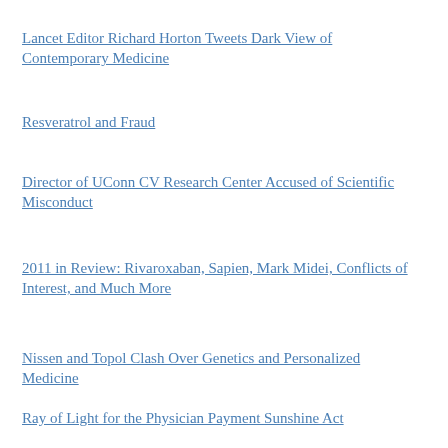Lancet Editor Richard Horton Tweets Dark View of Contemporary Medicine
Resveratrol and Fraud
Director of UConn CV Research Center Accused of Scientific Misconduct
2011 in Review: Rivaroxaban, Sapien, Mark Midei, Conflicts of Interest, and Much More
Nissen and Topol Clash Over Genetics and Personalized Medicine
Ray of Light for the Physician Payment Sunshine Act